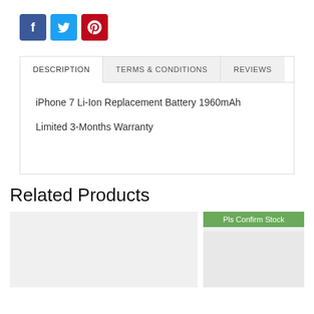[Figure (other): Social media share buttons: Facebook (blue), Twitter (light blue), Pinterest (red)]
DESCRIPTION | TERMS & CONDITIONS | REVIEWS
iPhone 7 Li-Ion Replacement Battery 1960mAh
Limited 3-Months Warranty
Related Products
[Figure (other): Product card placeholder image (grey box)]
[Figure (other): Product card with green 'Pls Confirm Stock' badge and grey placeholder image]